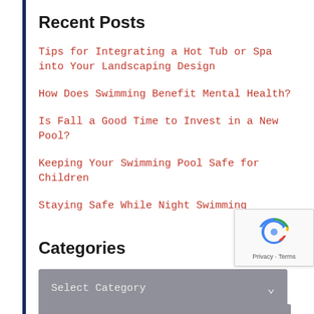Recent Posts
Tips for Integrating a Hot Tub or Spa into Your Landscaping Design
How Does Swimming Benefit Mental Health?
Is Fall a Good Time to Invest in a New Pool?
Keeping Your Swimming Pool Safe for Children
Staying Safe While Night Swimming
Categories
Select Category
Archives